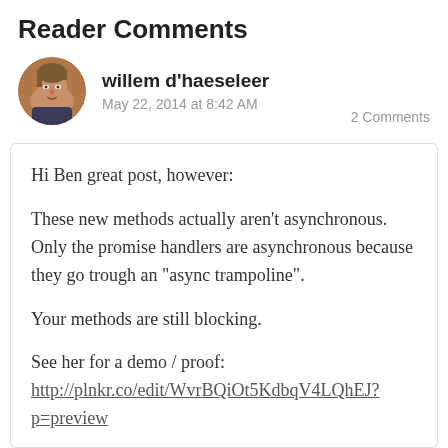Reader Comments
[Figure (photo): Avatar photo of willem d'haeseleer — circular crop of a man's face]
willem d'haeseleer
May 22, 2014 at 8:42 AM    2 Comments
Hi Ben great post, however:

These new methods actually aren't asynchronous. Only the promise handlers are asynchronous because they go trough an "async trampoline".

Your methods are still blocking.

See her for a demo / proof:
http://plnkr.co/edit/WvrBQiOt5KdbqV4LQhEJ?p=preview